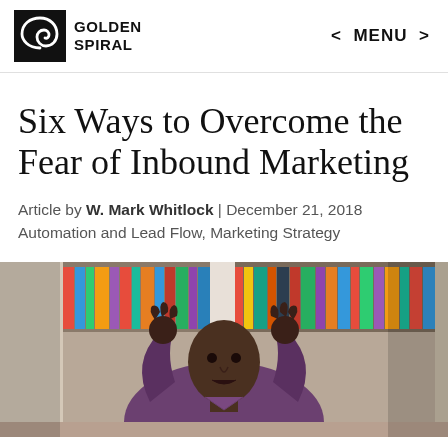GOLDEN SPIRAL | < MENU >
Six Ways to Overcome the Fear of Inbound Marketing
Article by W. Mark Whitlock | December 21, 2018 Automation and Lead Flow, Marketing Strategy
[Figure (photo): A man in a purple shirt with both hands raised, looking frustrated or exasperated, with colorful bookshelves in the background.]